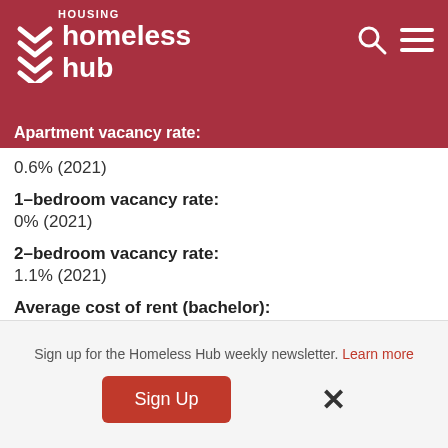HOUSING homeless hub
Apartment vacancy rate:
0.6% (2021)
1-bedroom vacancy rate:
0% (2021)
2-bedroom vacancy rate:
1.1% (2021)
Average cost of rent (bachelor):
$712/month (2021)
Average cost of rent (1 bdrm):
Sign up for the Homeless Hub weekly newsletter. Learn more
Sign Up  ×